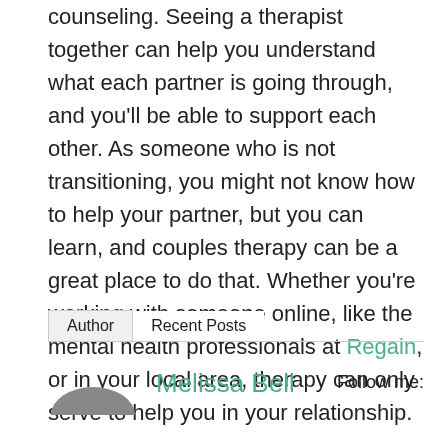counseling. Seeing a therapist together can help you understand what each partner is going through, and you'll be able to support each other. As someone who is not transitioning, you might not know how to help your partner, but you can learn, and couples therapy can be a great place to do that. Whether you're working with someone online, like the mental health professionals at Regain, or in your local area, therapy can only serve to help you in your relationship.
Author | Recent Posts
Melissa Bell   Follow me: